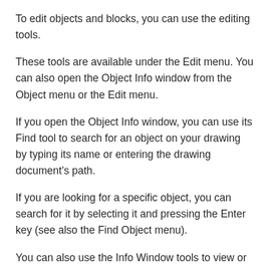To edit objects and blocks, you can use the editing tools.
These tools are available under the Edit menu. You can also open the Object Info window from the Object menu or the Edit menu.
If you open the Object Info window, you can use its Find tool to search for an object on your drawing by typing its name or entering the drawing document’s path.
If you are looking for a specific object, you can search for it by selecting it and pressing the Enter key (see also the Find Object menu).
You can also use the Info Window tools to view or modify attributes.
As explained in the table below, the attributes are: